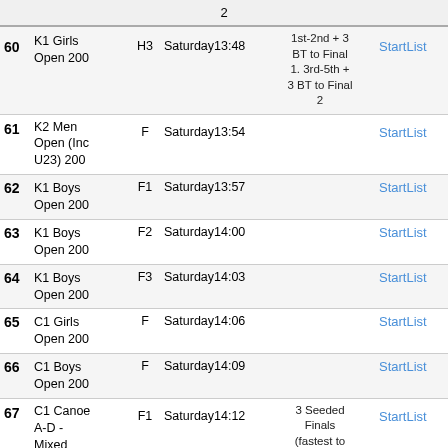|  | Event | Round | Time | Info | Link |
| --- | --- | --- | --- | --- | --- |
|  |  |  |  | 2 |  |
| 60 | K1 Girls Open 200 | H3 | Saturday13:48 | 1st-2nd + 3 BT to Final 1. 3rd-5th + 3 BT to Final 2 | StartList |
| 61 | K2 Men Open (Inc U23) 200 | F | Saturday13:54 |  | StartList |
| 62 | K1 Boys Open 200 | F1 | Saturday13:57 |  | StartList |
| 63 | K1 Boys Open 200 | F2 | Saturday14:00 |  | StartList |
| 64 | K1 Boys Open 200 | F3 | Saturday14:03 |  | StartList |
| 65 | C1 Girls Open 200 | F | Saturday14:06 |  | StartList |
| 66 | C1 Boys Open 200 | F | Saturday14:09 |  | StartList |
| 67 | C1 Canoe A-D - Mixed 200 | F1 | Saturday14:12 | 3 Seeded Finals (fastest to slowest)? no | StartList |